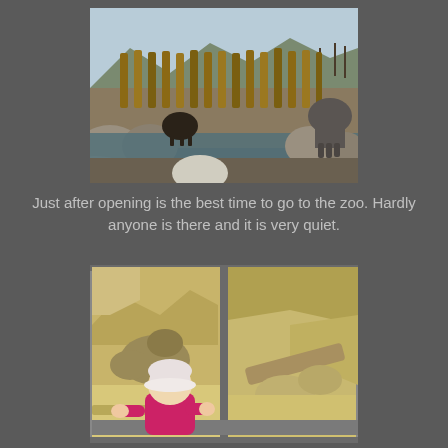[Figure (photo): Zoo elephant enclosure outdoors with wooden fence posts, rocks, water feature, mountains in background, elephant visible on right side]
Just after opening is the best time to go to the zoo. Hardly anyone is there and it is very quiet.
[Figure (photo): Small toddler in pink hat and jacket looking through zoo glass enclosure window at animals inside a sandy/rocky habitat]